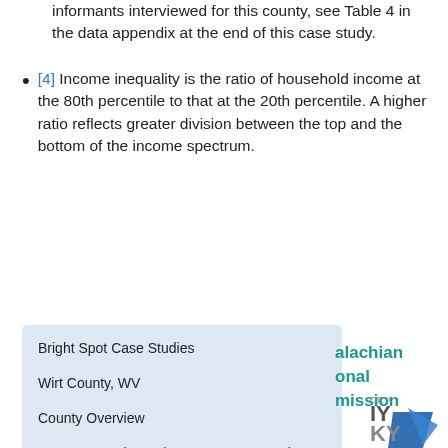informants interviewed for this county, see Table 4 in the data appendix at the end of this case study.
[4] Income inequality is the ratio of household income at the 80th percentile to that at the 20th percentile. A higher ratio reflects greater division between the top and the bottom of the income spectrum.
Bright Spot Case Studies
Wirt County, WV
County Overview
A Deeper Look at Wirt County: Community Strengths
Creating a Culture of Health in Wirt County
References
[Figure (logo): Appalachian Regional Commission logo with teal text and blue sail shape]